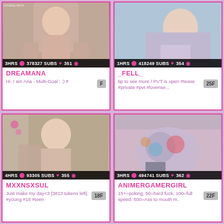[Figure (screenshot): Thumbnail of streamer DREAMANA, blonde woman]
3HRS  378327 SUBS  351
DREAMANA
Hi. I am Ana - Multi-Goal : :) #
F
[Figure (screenshot): Thumbnail of streamer _FELL_, woman in blue top]
1HRS  418249 SUBS  354
_FELL_
tip to see more / PVT is open #tease #private #pvt #lovense...
25F
[Figure (screenshot): Thumbnail of streamer MXXNSXSUL, curly haired woman]
4HRS  93305 SUBS  355
MXXNSXSUL
Just make my day<3 [3813 tokens left] #young #18 #teen
18F
[Figure (screenshot): Thumbnail of streamer ANIMERGAMERGIRL, tattooed]
3HRS  494741 SUBS  362
ANIMERGAMERGIRL
15+=poking, 50=hard fuck. 100=full speed. 500=Ass to mouth m.
22F